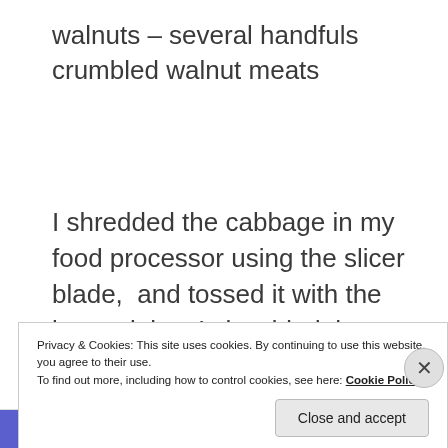walnuts – several handfuls crumbled walnut meats
I shredded the cabbage in my food processor using the slicer blade,  and tossed it with the lemon juice. I shredded the carrots with the cheese grater blade. I mixed these together in a
Privacy & Cookies: This site uses cookies. By continuing to use this website, you agree to their use.
To find out more, including how to control cookies, see here: Cookie Policy
Close and accept
subscriptions online